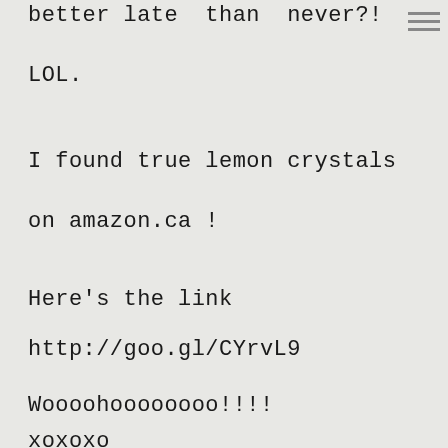better late than never?! LOL.
I found true lemon crystals on amazon.ca !
Here's the link http://goo.gl/CYrvL9
Woooohoooooooo!!!!
xoxoxo